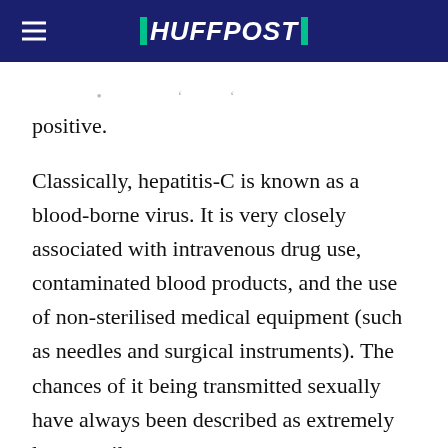HUFFPOST
positive.
Classically, hepatitis-C is known as a blood-borne virus. It is very closely associated with intravenous drug use, contaminated blood products, and the use of non-sterilised medical equipment (such as needles and surgical instruments). The chances of it being transmitted sexually have always been described as extremely low - until now.
Over the last year, we have witnessed an outbreak of acute sexually-acquired hepatitis C, predominantly